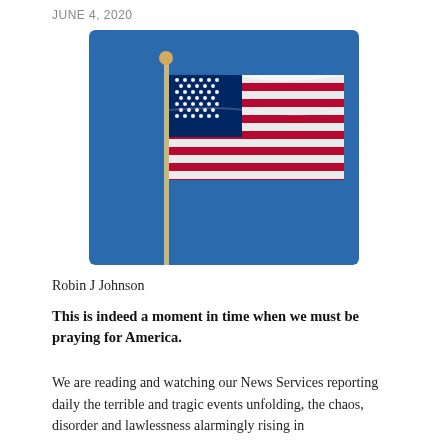JUNE 4, 2020
[Figure (photo): American flag waving on a flagpole against a blue sky]
Robin J Johnson
This is indeed a moment in time when we must be praying for America.
We are reading and watching our News Services reporting daily the terrible and tragic events unfolding, the chaos, disorder and lawlessness alarmingly rising in